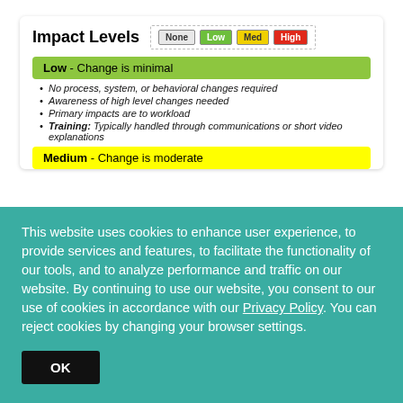Impact Levels
Low - Change is minimal
No process, system, or behavioral changes required
Awareness of high level changes needed
Primary impacts are to workload
Training: Typically handled through communications or short video explanations
Medium - Change is moderate
This website uses cookies to enhance user experience, to provide services and features, to facilitate the functionality of our tools, and to analyze performance and traffic on our website. By continuing to use our website, you consent to our use of cookies in accordance with our Privacy Policy. You can reject cookies by changing your browser settings.
OK